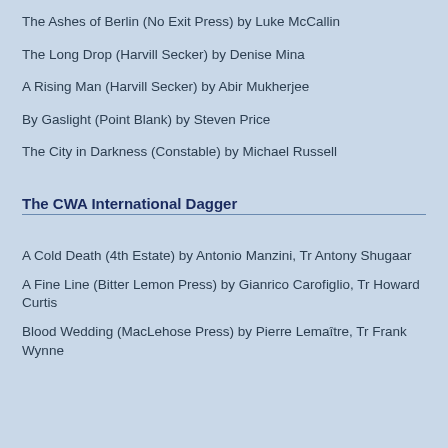The Ashes of Berlin (No Exit Press) by Luke McCallin
The Long Drop (Harvill Secker) by Denise Mina
A Rising Man (Harvill Secker) by Abir Mukherjee
By Gaslight (Point Blank) by Steven Price
The City in Darkness (Constable) by Michael Russell
The CWA International Dagger
A Cold Death (4th Estate) by Antonio Manzini, Tr Antony Shugaar
A Fine Line (Bitter Lemon Press) by Gianrico Carofiglio, Tr Howard Curtis
Blood Wedding (MacLehose Press) by Pierre Lemaître, Tr Frank Wynne